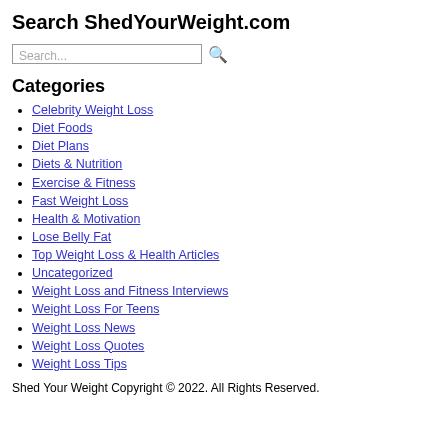Search ShedYourWeight.com
Celebrity Weight Loss
Diet Foods
Diet Plans
Diets & Nutrition
Exercise & Fitness
Fast Weight Loss
Health & Motivation
Lose Belly Fat
Top Weight Loss & Health Articles
Uncategorized
Weight Loss and Fitness Interviews
Weight Loss For Teens
Weight Loss News
Weight Loss Quotes
Weight Loss Tips
Shed Your Weight Copyright © 2022. All Rights Reserved.